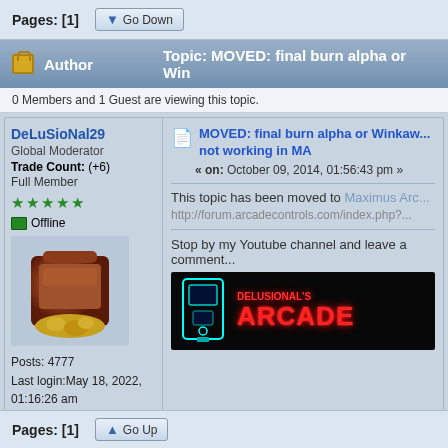Pages: [1]
Author   Topic: MOVED: final burn alpha or Win...
0 Members and 1 Guest are viewing this topic.
DeLuSioNal29
Global Moderator
Trade Count: (+6)
Full Member
Offline
Posts: 4777
Last login:May 18, 2022, 01:16:26 am
Build the impossible -"There is no Spoon"
MOVED: final burn alpha or Winkaw... not working in MA
« on: October 09, 2014, 01:56:43 pm »
This topic has been moved to Maximus Arc...
http://forum.arcadecontrols.com/index.php?...
Stop by my Youtube channel and leave a comment...
[Figure (screenshot): Banner image for DELUSIONAL'S ARCADE youtube channel with neon red text and cyan arcade cabinet icon on black background]
Pages: [1]